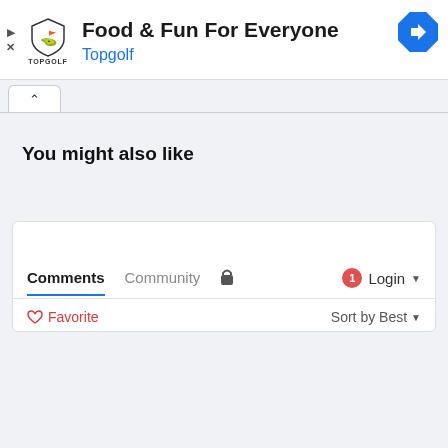[Figure (screenshot): Topgolf advertisement banner with shield logo, 'Food & Fun For Everyone' headline, 'Topgolf' subtitle in blue, and a blue diamond navigation arrow icon. Play and close controls on the left.]
[Figure (screenshot): Website UI showing a tab with chevron up arrow, a 'You might also like' section header, and a comments/community tab bar with lock icon, login button with red badge, Favorite button, and Sort by Best dropdown.]